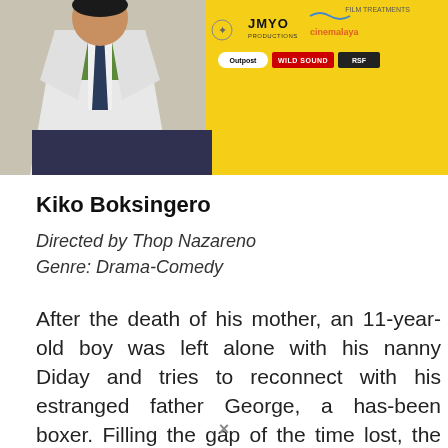[Figure (photo): Film promotional banner showing a person wearing a white and green jacket with a tie, on a yellow background with sponsor logos including JMYO Productions, Cinemalaya, Outpost, Wild Sound, and RSF]
Kiko Boksingero
Directed by Thop Nazareno
Genre: Drama-Comedy
After the death of his mother, an 11-year-old boy was left alone with his nanny Diday and tries to reconnect with his estranged father George, a has-been boxer. Filling the gap of the time lost, the father and son bonds through their shared love for